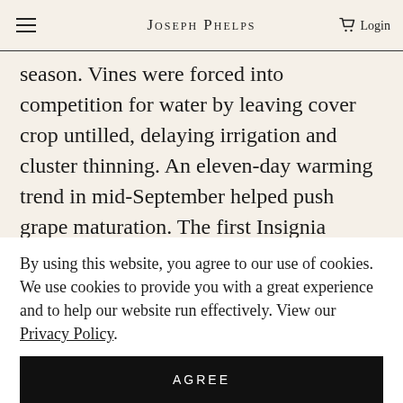Joseph Phelps
weeks later than normal. By mid-June, preparations were underway for the unusually cool growing season. Vines were forced into competition for water by leaving cover crop untilled, delaying irrigation and cluster thinning. An eleven-day warming trend in mid-September helped push grape maturation. The first Insignia designated fruit block picked in 2011 was Merlot on October 3rd the Yountville Vineyard, and the final Insignia grape block picked was Cabernet Sauvignon from
By using this website, you agree to our use of cookies. We use cookies to provide you with a great experience and to help our website run effectively. View our Privacy Policy.
AGREE